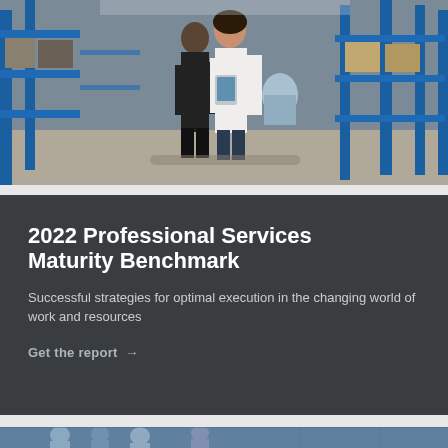[Figure (photo): Two people in a warehouse/industrial facility, one holding a tablet device, surrounded by blue metal shelving and storage equipment]
2022 Professional Services Maturity Benchmark
Successful strategies for optimal execution in the changing world of work and resources
Get the report →
[Figure (photo): Bottom strip showing partial view of people in what appears to be an office or meeting environment]